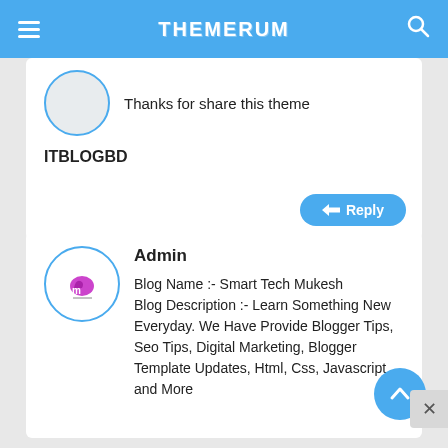THEMERUM
Thanks for share this theme
ITBLOGBD
Reply
Admin
Blog Name :- Smart Tech Mukesh Blog Description :- Learn Something New Everyday. We Have Provide Blogger Tips, Seo Tips, Digital Marketing, Blogger Template Updates, Html, Css, Javascript and More